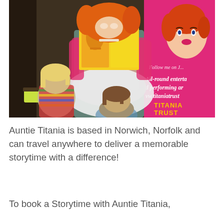[Figure (photo): A performer in a bright orange curly wig, pink cardigan, and frilly white skirt reads a colourful picture book to two young children. Behind them is a pink banner showing a cartoon illustration of a glamorous woman and the text 'All-round enterta... and performing ar... vw.titaniatrust' and 'TITANIA TRUST'.]
Auntie Titania is based in Norwich, Norfolk and can travel anywhere to deliver a memorable storytime with a difference!
To book a Storytime with Auntie Titania,